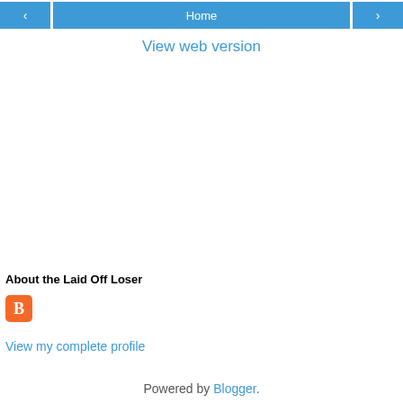< Home >
View web version
About the Laid Off Loser
[Figure (logo): Blogger orange square icon with white B letter]
View my complete profile
Powered by Blogger.